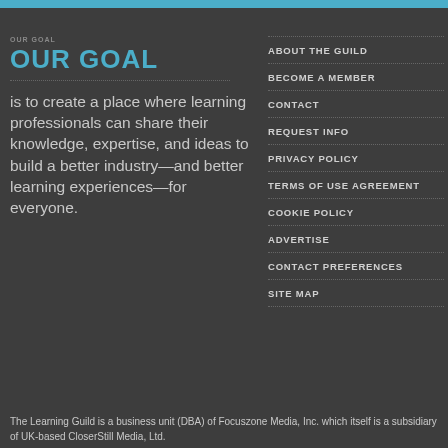OUR GOAL
is to create a place where learning professionals can share their knowledge, expertise, and ideas to build a better industry—and better learning experiences—for everyone.
ABOUT THE GUILD
BECOME A MEMBER
CONTACT
REQUEST INFO
PRIVACY POLICY
TERMS OF USE AGREEMENT
COOKIE POLICY
ADVERTISE
CONTACT PREFERENCES
SITE MAP
The Learning Guild is a business unit (DBA) of Focuszone Media, Inc. which itself is a subsidiary of UK-based CloserStill Media, Ltd.